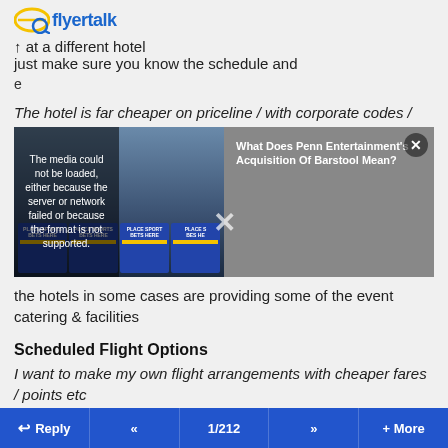flyertalk (logo/header bar)
at a different hotel — just make sure you know the schedule and
The hotel is far cheaper on priceline / with corporate codes /
[Figure (screenshot): Video player showing 'The media could not be loaded, either because the server or network failed or because the format is not supported.' alongside an ad panel with text 'What Does Penn Entertainment's Acquisition Of Barstool Mean?' and a dismiss X button overlay]
the hotels in some cases are providing some of the event catering & facilities
Scheduled Flight Options
I want to make my own flight arrangements with cheaper fares / points etc
Feel free to make your own arrangements, but please note that the
Reply  <<  1/212  >>  + More